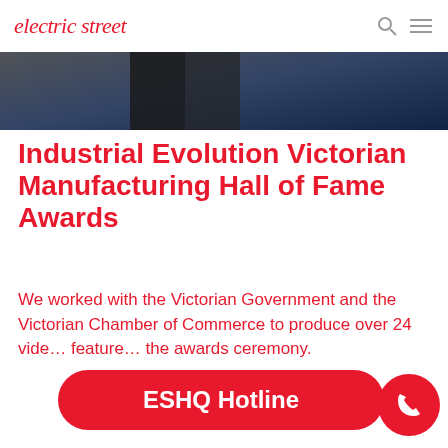electric street
[Figure (photo): Award ceremony photo showing a person in black clothing on stage with dark blue background and Victorian government logo]
Industrial Evolution Victorian Manufacturing Hall of Fame Awards
We worked with the Victorian Government and the Victorian Chamber of Commerce to produce over 24 videos featuring… the awards ceremony.
ESHQ Hotline